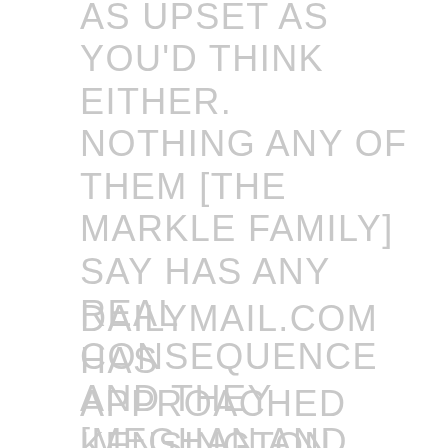AS UPSET AS YOU'D THINK EITHER. NOTHING ANY OF THEM [THE MARKLE FAMILY] SAY HAS ANY REAL CONSEQUENCE AND THEY [MEGHAN AND HARRY] HAVE MORE IMPORTANT THINGS TO FOCUS ON.'
DAILYMAIL.COM HAS APPROACHED KENSINGTON PALACE FOR COMMENT.